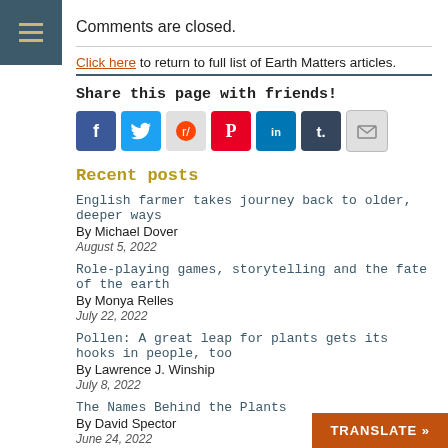Comments are closed.
Click here to return to full list of Earth Matters articles.
Share this page with friends!
[Figure (other): Social sharing icons: Facebook, Twitter, Reddit, Pinterest, LinkedIn, Tumblr, Email]
Recent posts
English farmer takes journey back to older, deeper ways
By Michael Dover
August 5, 2022
Role-playing games, storytelling and the fate of the earth
By Monya Relles
July 22, 2022
Pollen: A great leap for plants gets its hooks in people, too
By Lawrence J. Winship
July 8, 2022
The Names Behind the Plants
By David Spector
June 24, 2022
TRANSLATE »